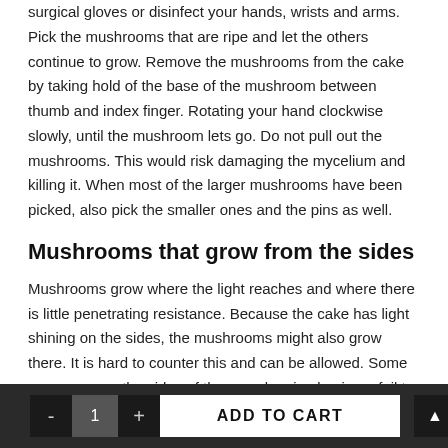surgical gloves or disinfect your hands, wrists and arms. Pick the mushrooms that are ripe and let the others continue to grow. Remove the mushrooms from the cake by taking hold of the base of the mushroom between thumb and index finger. Rotating your hand clockwise slowly, until the mushroom lets go. Do not pull out the mushrooms. This would risk damaging the mycelium and killing it. When most of the larger mushrooms have been picked, also pick the smaller ones and the pins as well.
Mushrooms that grow from the sides
Mushrooms grow where the light reaches and where there is little penetrating resistance. Because the cake has light shining on the sides, the mushrooms might also grow there. It is hard to counter this and can be allowed. Some growers wrap the sides of the grow box in aluminum foil to keep the sides dark, but this doesn't always work well.
- 1 + ADD TO CART ▲